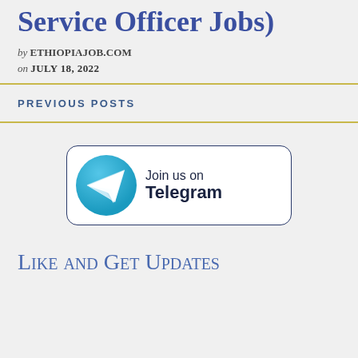Service Officer Jobs)
by ETHIOPIAJOB.COM
on JULY 18, 2022
PREVIOUS POSTS
[Figure (illustration): Telegram promotional banner: circular Telegram logo (blue with white paper plane) beside a rounded rectangle with text 'Join us on Telegram']
Like and Get Updates